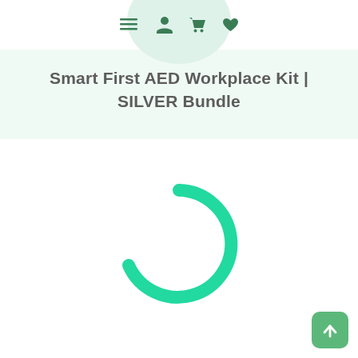Navigation bar with hamburger menu, user account, cart, and wishlist icons
Smart First AED Workplace Kit | SILVER Bundle
[Figure (other): Green loading spinner (partial circle arc) indicating content is loading]
[Figure (other): Scroll-to-top button (green rounded square with upward arrow)]